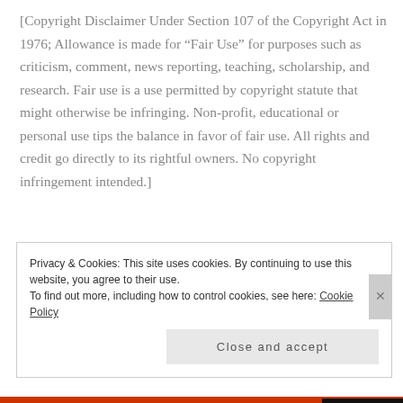[Copyright Disclaimer Under Section 107 of the Copyright Act in 1976; Allowance is made for “Fair Use” for purposes such as criticism, comment, news reporting, teaching, scholarship, and research. Fair use is a use permitted by copyright statute that might otherwise be infringing. Non-profit, educational or personal use tips the balance in favor of fair use. All rights and credit go directly to its rightful owners. No copyright infringement intended.]
Privacy & Cookies: This site uses cookies. By continuing to use this website, you agree to their use.
To find out more, including how to control cookies, see here: Cookie Policy
Close and accept